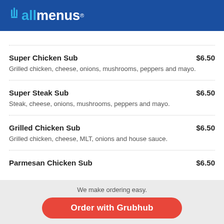allmenus
Super Chicken Sub $6.50 — Grilled chicken, cheese, onions, mushrooms, peppers and mayo.
Super Steak Sub $6.50 — Steak, cheese, onions, mushrooms, peppers and mayo.
Grilled Chicken Sub $6.50 — Grilled chicken, cheese, MLT, onions and house sauce.
Parmesan Chicken Sub $6.50
We make ordering easy.
Order with Grubhub